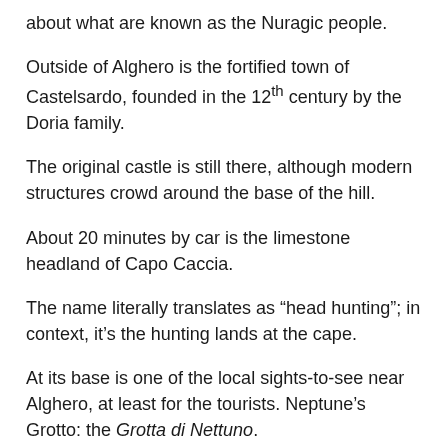about what are known as the Nuragic people.
Outside of Alghero is the fortified town of Castelsardo, founded in the 12th century by the Doria family.
The original castle is still there, although modern structures crowd around the base of the hill.
About 20 minutes by car is the limestone headland of Capo Caccia.
The name literally translates as “head hunting”; in context, it’s the hunting lands at the cape.
At its base is one of the local sights-to-see near Alghero, at least for the tourists. Neptune’s Grotto: the Grotta di Nettuno.
The cave was discovered by local fishermen in the 18th century, and named for the Roman god of the sea. Somewhat